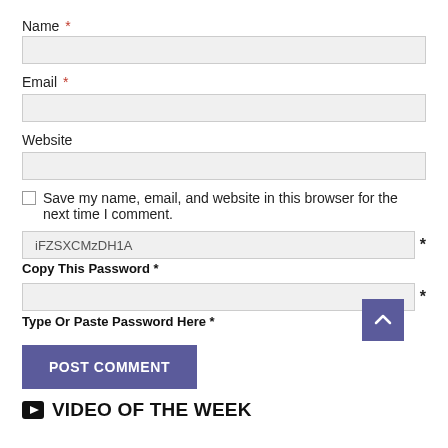Name *
[Figure (screenshot): Empty text input field for Name]
Email *
[Figure (screenshot): Empty text input field for Email]
Website
[Figure (screenshot): Empty text input field for Website]
Save my name, email, and website in this browser for the next time I comment.
iFZSXCMzDH1A *
Copy This Password *
[Figure (screenshot): Empty text input field for password]
Type Or Paste Password Here *
POST COMMENT
VIDEO OF THE WEEK